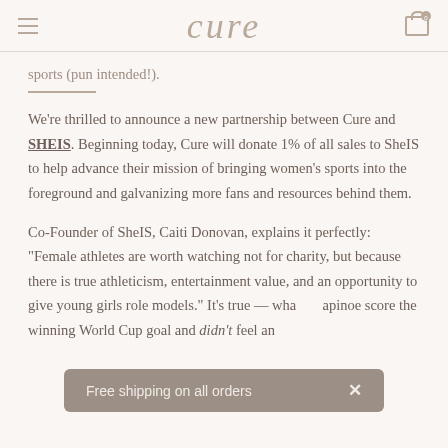cure
sports (pun intended!).
We're thrilled to announce a new partnership between Cure and SHEIS. Beginning today, Cure will donate 1% of all sales to SheIS to help advance their mission of bringing women's sports into the foreground and galvanizing more fans and resources behind them.
Co-Founder of SheIS, Caiti Donovan, explains it perfectly: "Female athletes are worth watching not for charity, but because there is true athleticism, entertainment value, and an opportunity to give young girls role models." It's true — wha... apinoe score the winning World Cup goal and didn't feel an
Free shipping on all orders